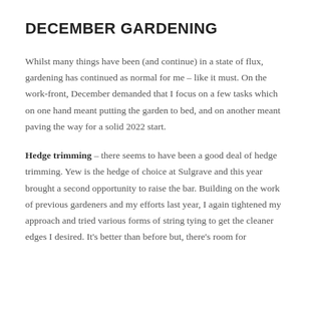DECEMBER GARDENING
Whilst many things have been (and continue) in a state of flux, gardening has continued as normal for me – like it must. On the work-front, December demanded that I focus on a few tasks which on one hand meant putting the garden to bed, and on another meant paving the way for a solid 2022 start.
Hedge trimming – there seems to have been a good deal of hedge trimming. Yew is the hedge of choice at Sulgrave and this year brought a second opportunity to raise the bar. Building on the work of previous gardeners and my efforts last year, I again tightened my approach and tried various forms of string tying to get the cleaner edges I desired. It's better than before but, there's room for